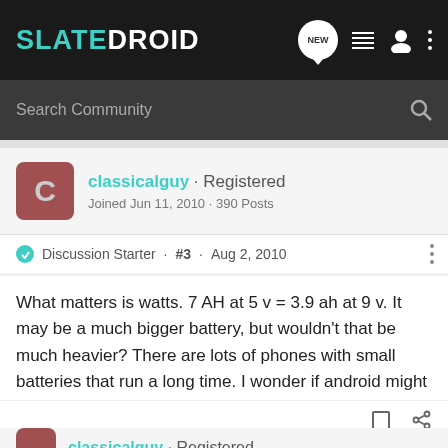SLATEDROID — navigation header with search bar
classicalguy · Registered
Joined Jun 11, 2010 · 390 Posts
Discussion Starter · #3 · Aug 2, 2010
What matters is watts. 7 AH at 5 v = 3.9 ah at 9 v. It may be a much bigger battery, but wouldn't that be much bigger battery, but wouldn't that be much heavier? There are lots of phones with small batteries that run a long time. I wonder if android might be very inefficient at this point?
classicalguy · Registered